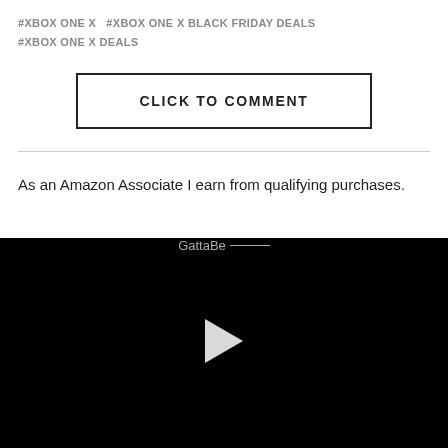#XBOX ONE X   #XBOX ONE X BLACK FRIDAY DEALS   #XBOX ONE X DEALS
CLICK TO COMMENT
As an Amazon Associate I earn from qualifying purchases.
[Figure (screenshot): Dark footer area with partially visible 'GottaBe...' text and a video player with a white play button on a black background]